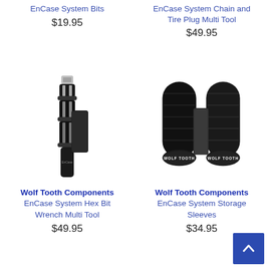Wolf Tooth Components EnCase System Bits
$19.95
Wolf Tooth Components EnCase System Chain and Tire Plug Multi Tool
$49.95
[Figure (photo): EnCase System Hex Bit Wrench Multi Tool - black multi-tool with hex bits]
Wolf Tooth Components EnCase System Hex Bit Wrench Multi Tool
$49.95
[Figure (photo): EnCase System Storage Sleeves - two black cylindrical handlebar storage sleeves with Wolf Tooth end caps]
Wolf Tooth Components EnCase System Storage Sleeves
$34.95